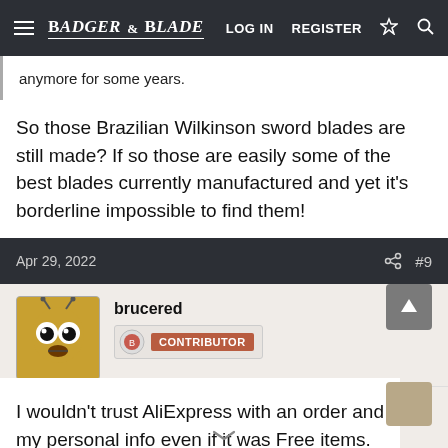Badger & Blade — LOG IN  REGISTER
anymore for some years.
So those Brazilian Wilkinson sword blades are still made? If so those are easily some of the best blades currently manufactured and yet it's borderline impossible to find them!
Apr 29, 2022  #9
brucered  CONTRIBUTOR
I wouldn't trust AliExpress with an order and my personal info even if it was Free items.